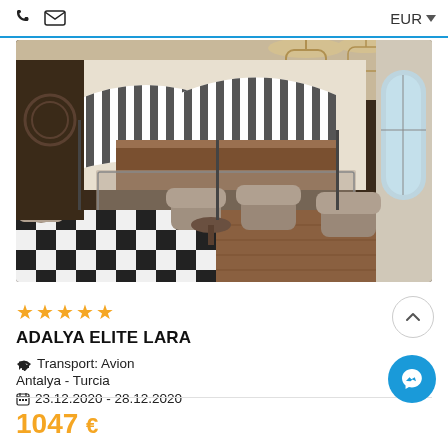EUR
[Figure (photo): Hotel interior showing an elegant cafe/lounge with black and white checkered floor, striped canopy awnings, velvet armchairs, ornate chandeliers, and large windows]
★★★★★
ADALYA ELITE LARA
✈ Transport: Avion
Antalya - Turcia
📅 23.12.2020 - 28.12.2020
1047 €